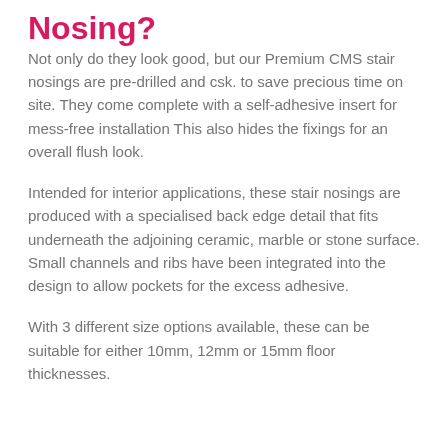Nosing?
Not only do they look good, but our Premium CMS stair nosings are pre-drilled and csk. to save precious time on site. They come complete with a self-adhesive insert for mess-free installation This also hides the fixings for an overall flush look.
Intended for interior applications, these stair nosings are produced with a specialised back edge detail that fits underneath the adjoining ceramic, marble or stone surface. Small channels and ribs have been integrated into the design to allow pockets for the excess adhesive.
With 3 different size options available, these can be suitable for either 10mm, 12mm or 15mm floor thicknesses.